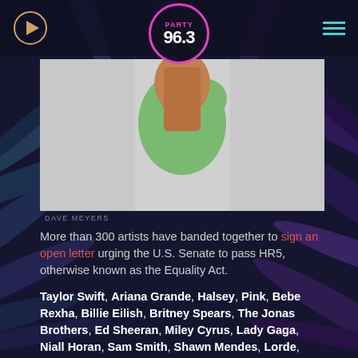[Figure (logo): Party 96.3 radio station logo — circular with pink border, 'PARTY' in pink text and '96.3' in white bold text]
[Figure (photo): Person wearing green long-sleeve top with long brown hair, photographed from behind/side, against light grey background. Photo credit: DAVE MEYERS]
DAVE MEYERS
More than 300 artists have banded together to sign an open letter urging the U.S. Senate to pass HR5, otherwise known as the Equality Act.
Taylor Swift, Ariana Grande, Halsey, Pink, Bebe Rexha, Billie Eilish, Britney Spears, The Jonas Brothers, Ed Sheeran, Miley Cyrus, Lady Gaga, Niall Horan, Sam Smith, Shawn Mendes, Lorde, Selena Gomez, Justin Timberlake, The Chainsmokers, Camilla Cabello and Katy Perry are just a few of the